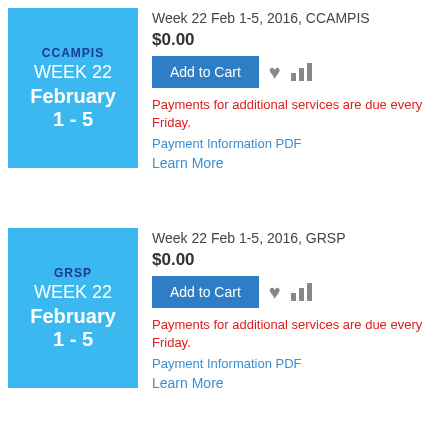Week 22 Feb 1-5, 2016, CCAMPIS
$0.00
Add to Cart
Payments for additional services are due every Friday.
Payment Information PDF
Learn More
Week 22 Feb 1-5, 2016, GRSP
$0.00
Add to Cart
Payments for additional services are due every Friday.
Payment Information PDF
Learn More